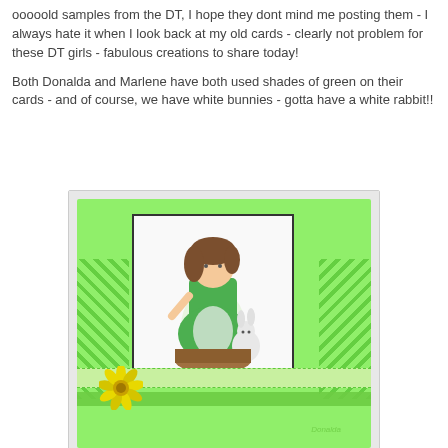ooooold samples from the DT, I hope they dont mind me posting them - I always hate it when I look back at my old cards - clearly not problem for these DT girls - fabulous creations to share today!
Both Donalda and Marlene have both used shades of green on their cards - and of course, we have white bunnies - gotta have a white rabbit!!
[Figure (photo): A handmade greeting card with a light green background featuring green damask patterned strips on the sides. In the center is a white panel with an illustration of a young girl in a green dress sitting near a white bunny rabbit. The card is decorated with a yellow daisy flower on the lower left and a green lace/ribbon strip along the bottom. A watermark reading 'Donalda' appears at the bottom right of the card.]